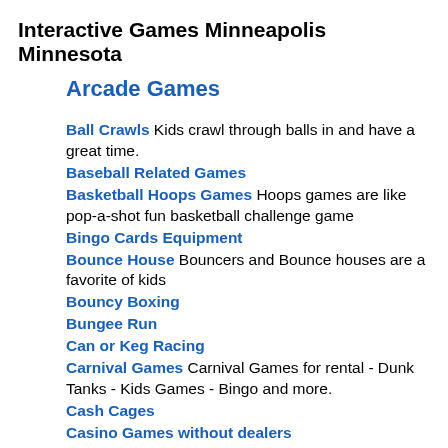Interactive Games Minneapolis Minnesota
Arcade Games
Ball Crawls Kids crawl through balls in and have a great time.
Baseball Related Games
Basketball Hoops Games Hoops games are like pop-a-shot fun basketball challenge game
Bingo Cards Equipment
Bounce House Bouncers and Bounce houses are a favorite of kids
Bouncy Boxing
Bungee Run
Can or Keg Racing
Carnival Games Carnival Games for rental - Dunk Tanks - Kids Games - Bingo and more.
Cash Cages
Casino Games without dealers
Complete Carnival Midway Rides and Games Companies that provide the ENTIRE midway rides and carnival games
Drive in Movies